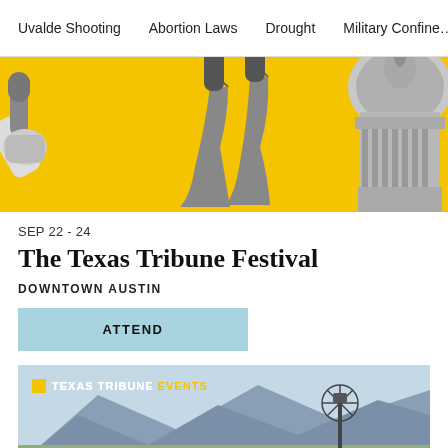Uvalde Shooting   Abortion Laws   Drought   Military Confinement
[Figure (photo): Yellow background festival banner with a hand holding a microphone, cowboy boots in the air, and a black-and-white image of the Texas State Capitol building]
SEP 22 - 24
The Texas Tribune Festival
DOWNTOWN AUSTIN
ATTEND
[Figure (photo): Texas Tribune Events banner showing mountains and a windmill against a sky background]